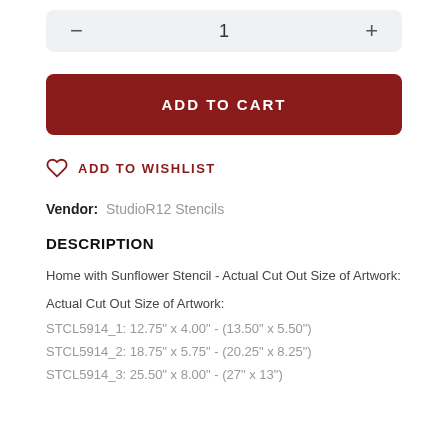— 1 +
ADD TO CART
ADD TO WISHLIST
Vendor: StudioR12 Stencils
DESCRIPTION
Home with Sunflower Stencil - Actual Cut Out Size of Artwork:
Actual Cut Out Size of Artwork:
STCL5914_1: 12.75" x 4.00" - (13.50" x 5.50")
STCL5914_2: 18.75" x 5.75" - (20.25" x 8.25")
STCL5914_3: 25.50" x 8.00" - (27" x 13")